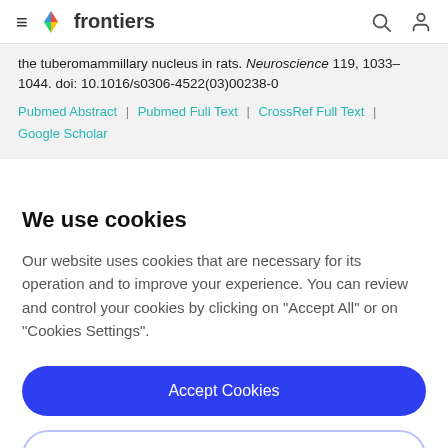frontiers
the tuberomammillary nucleus in rats. Neuroscience 119, 1033–1044. doi: 10.1016/s0306-4522(03)00238-0
Pubmed Abstract | Pubmed Full Text | CrossRef Full Text | Google Scholar
We use cookies
Our website uses cookies that are necessary for its operation and to improve your experience. You can review and control your cookies by clicking on "Accept All" or on "Cookies Settings".
Accept Cookies
Cookies Settings